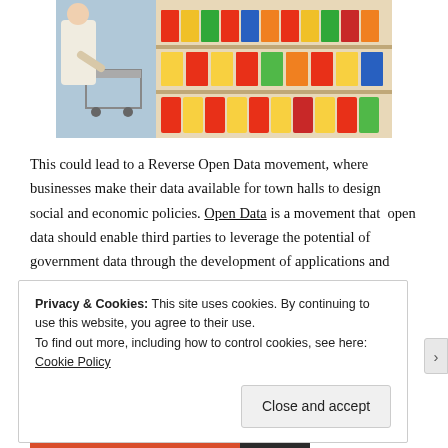[Figure (photo): A person with a shopping cart in a supermarket aisle with colorful product shelves]
This could lead to a Reverse Open Data movement, where businesses make their data available for town halls to design social and economic policies. Open Data is a movement that  open data should enable third parties to leverage the potential of government data through the development of applications and services that
Privacy & Cookies: This site uses cookies. By continuing to use this website, you agree to their use.
To find out more, including how to control cookies, see here: Cookie Policy
Close and accept